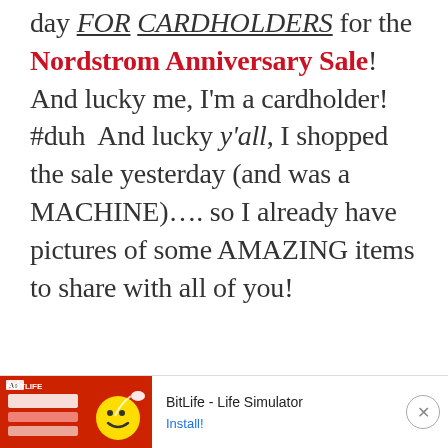day FOR CARDHOLDERS for the Nordstrom Anniversary Sale!  And lucky me, I'm a cardholder!  #duh  And lucky y'all, I shopped the sale yesterday (and was a MACHINE).... so I already have pictures of some AMAZING items to share with all of you!
[Figure (screenshot): Advertisement banner for BitLife - Life Simulator app with red background image on left showing game UI elements, app name and Install button on right, close button (X) at far right]